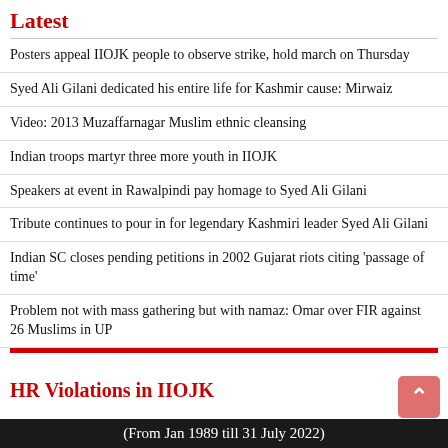Latest
Posters appeal IIOJK people to observe strike, hold march on Thursday
Syed Ali Gilani dedicated his entire life for Kashmir cause: Mirwaiz
Video: 2013 Muzaffarnagar Muslim ethnic cleansing
Indian troops martyr three more youth in IIOJK
Speakers at event in Rawalpindi pay homage to Syed Ali Gilani
Tribute continues to pour in for legendary Kashmiri leader Syed Ali Gilani
Indian SC closes pending petitions in 2002 Gujarat riots citing 'passage of time'
Problem not with mass gathering but with namaz: Omar over FIR against 26 Muslims in UP
HR Violations in IIOJK
(From Jan 1989 till 31 July 2022)